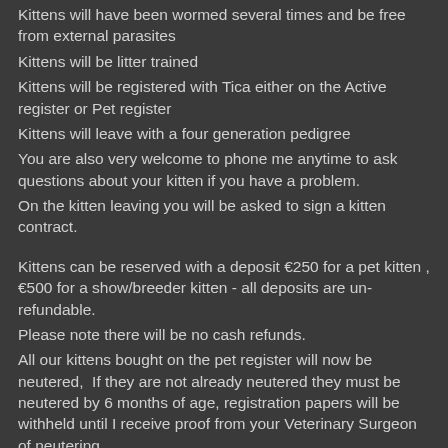Kittens will have been wormed several times and be free from external parasites
Kittens will be litter trained
Kittens will be registered with Tica either on the Active register or Pet register
Kittens will leave with a four generation pedigree
You are also very welcome to phone me anytime to ask questions about your kitten if you have a problem.
On the kitten leaving you will be asked to sign a kitten contract.
Kittens can be reserved with a deposit €250 for a pet kitten , €500 for a show/breeder kitten - all deposits are un-refundable.
Please note there will be no cash refunds.
All our kittens bought on the pet register will now be neutered,  If they are not already neutered they must be neutered by 6 months of age, registration papers will be withheld until I receive proof from your Veterinary Surgeon of neutering.
Due to the risk of introducing contagious infections and diseases and